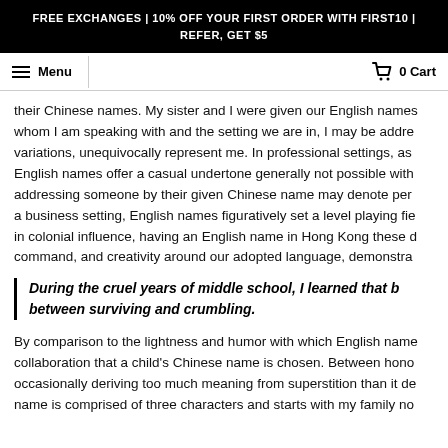FREE EXCHANGES | 10% OFF YOUR FIRST ORDER WITH FIRST10 | REFER, GET $5
Menu
0 Cart
their Chinese names. My sister and I were given our English names whom I am speaking with and the setting we are in, I may be addre variations, unequivocally represent me. In professional settings, as English names offer a casual undertone generally not possible with addressing someone by their given Chinese name may denote per a business setting, English names figuratively set a level playing fie in colonial influence, having an English name in Hong Kong these command, and creativity around our adopted language, demonstra
During the cruel years of middle school, I learned that b between surviving and crumbling.
By comparison to the lightness and humor with which English name collaboration that a child's Chinese name is chosen. Between hono occasionally deriving too much meaning from superstition than it de name is comprised of three characters and starts with my family no